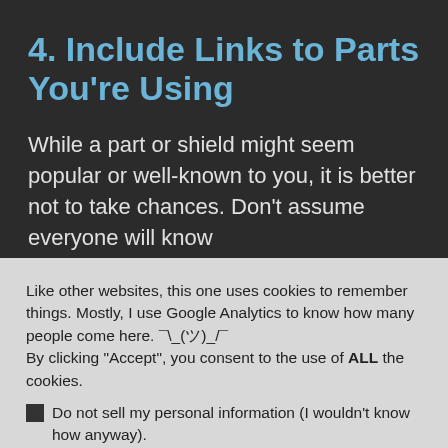4. Include Links to Parts You're Using
While a part or shield might seem popular or well-known to you, it is better not to take chances. Don't assume everyone will know
Like other websites, this one uses cookies to remember things. Mostly, I use Google Analytics to know how many people come here. ¯\_(ツ)_/¯
By clicking "Accept", you consent to the use of ALL the cookies.
Do not sell my personal information (I wouldn't know how anyway).
Cookie Settings | Accept